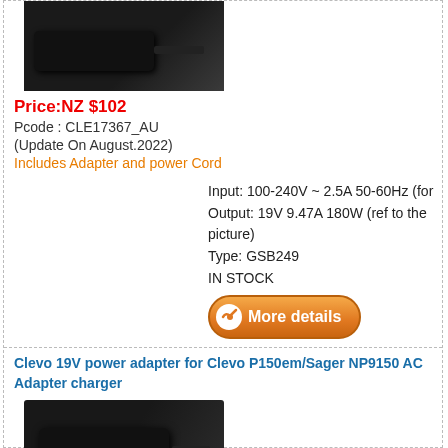[Figure (photo): Photo of a black power adapter/charger with cable on white fabric background (top, partially visible)]
Price:NZ $102
Pcode : CLE17367_AU
(Update On August.2022)
Includes Adapter and power Cord
Input: 100-240V ~ 2.5A 50-60Hz (for
Output: 19V 9.47A 180W (ref to the picture)
Type: GSB249
IN STOCK
[Figure (other): More details button with orange gradient and white checkmark icon]
Clevo 19V power adapter for Clevo P150em/Sager NP9150 AC Adapter charger
[Figure (photo): Photo of a black rectangular power adapter/charger on white fabric background]